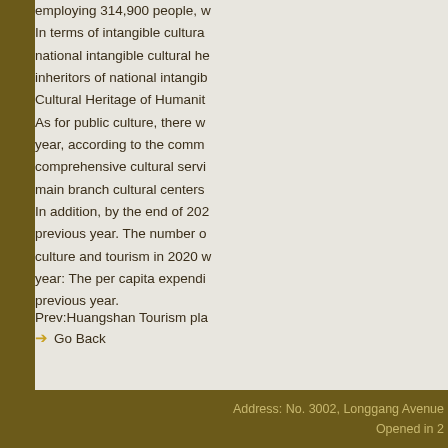employing 314,900 people, w... In terms of intangible cultural... national intangible cultural he... inheritors of national intangib... Cultural Heritage of Humanit... As for public culture, there w... year, according to the comm... comprehensive cultural servi... main branch cultural centers ... In addition, by the end of 202... previous year. The number o... culture and tourism in 2020 w... year: The per capita expendi... previous year.
Prev:Huangshan Tourism pla...
Go Back
Address: No. 3002, Longgang Avenue... Opened in 2...